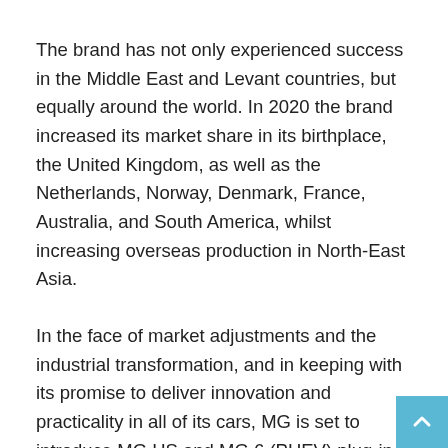The brand has not only experienced success in the Middle East and Levant countries, but equally around the world. In 2020 the brand increased its market share in its birthplace, the United Kingdom, as well as the Netherlands, Norway, Denmark, France, Australia, and South America, whilst increasing overseas production in North-East Asia.
In the face of market adjustments and the industrial transformation, and in keeping with its promise to deliver innovation and practicality in all of its cars, MG is set to introduce MG HS and MG 6 (PHEV) plug-in hybrid cars as well as intelligent connectivity and 5G in the MG HS PHEV.
Furthermore, MG will continue to enhance its services as it tends to its customer's needs, while its 6 years / 200,000 km warranty on all models, combined with exceptional offers